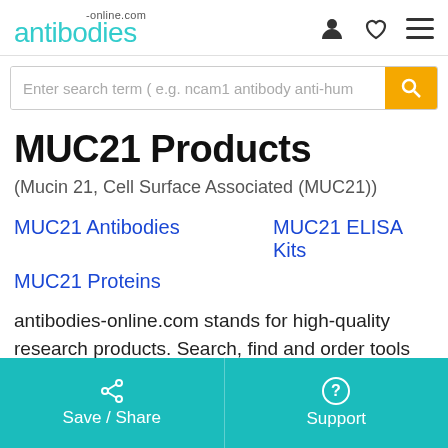antibodies-online.com
Enter search term ( e.g. ncam1 antibody anti-hum
MUC21 Products
(Mucin 21, Cell Surface Associated (MUC21))
MUC21 Antibodies
MUC21 ELISA Kits
MUC21 Proteins
antibodies-online.com stands for high-quality research products. Search, find and order tools with extensive
Save / Share   Support